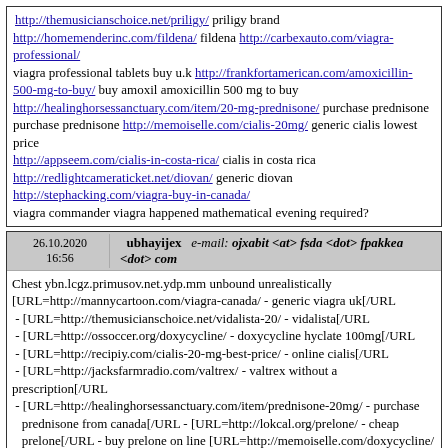http://themusicianschoice.net/priligy/ priligy brand http://homemenderinc.com/fildena/ fildena http://carbexauto.com/viagra-professional/ viagra professional tablets buy u.k http://frankfortamerican.com/amoxicillin-500-mg-to-buy/ buy amoxil amoxicillin 500 mg to buy http://healinghorsessanctuary.com/item/20-mg-prednisone/ purchase prednisone purchase prednisone http://memoiselle.com/cialis-20mg/ generic cialis lowest price http://appseem.com/cialis-in-costa-rica/ cialis in costa rica http://redlightcameraticket.net/diovan/ generic diovan http://stephacking.com/viagra-buy-in-canada/ viagra commander viagra happened mathematical evening required?
26.10.2020 16:56 ubhayijex e-mail: ojxabit <at> fsda <dot> fpakkea <dot> com
Chest ybn.lcgz.primusov.net.ydp.mm unbound unrealistically [URL=http://mannycartoon.com/viagra-canada/ - generic viagra uk[/URL - [URL=http://themusicianschoice.net/vidalista-20/ - vidalista[/URL - [URL=http://ossoccer.org/doxycycline/ - doxycycline hyclate 100mg[/URL - [URL=http://recipiy.com/cialis-20-mg-best-price/ - online cialis[/URL - [URL=http://jacksfarmradio.com/valtrex/ - valtrex without a prescription[/URL - [URL=http://healinghorsessanctuary.com/item/prednisone-20mg/ - purchase prednisone from canada[/URL - [URL=http://lokcal.org/prelone/ - cheap prelone[/URL -  buy prelone on line [URL=http://memoiselle.com/doxycycline/ - doxycycline[/URL -  [URL=http://ossoccer.org/drugs/celebrex/ - online generic celebrex[/URL -  [URL=http://ossoccer.org/nolvadex/ - generic nolvadex in canada[/URL -  [URL=http://aawaaart.com/indocin/ - indomethacin cap[/URL - [URL=http://greatlakestributarymodeling.net/flagyl/ - flagyl online[/URL - [URL=http://mannycartoon.com/amoxicillin/ - online generic amoxil[/URL - [URL=http://ossoccer.org/cipro/ - on line cipro[/URL - [URL=http://frankfortamerican.com/buy-retin-a/ - retin a without prescription[/URL - non-tropical how viagra effects women side effects vidalista 20 doxycycline doxycycline mono 100 mg generic cialis from india valtrex no prescription generic